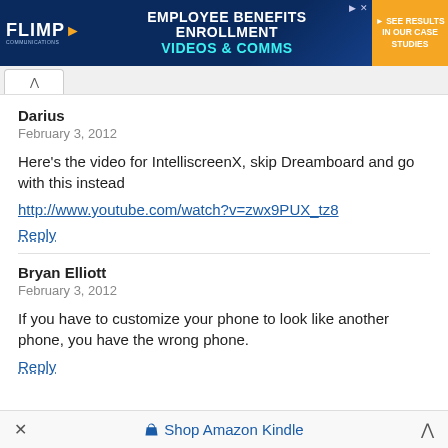[Figure (screenshot): FLIMP Communications banner ad: Employee Benefits Enrollment Videos & Comms, See Results In Our Case Studies]
Darius
February 3, 2012
Here's the video for IntelliscreenX, skip Dreamboard and go with this instead
http://www.youtube.com/watch?v=zwx9PUX_tz8
Reply
Bryan Elliott
February 3, 2012
If you have to customize your phone to look like another phone, you have the wrong phone.
Reply
Shop Amazon Kindle